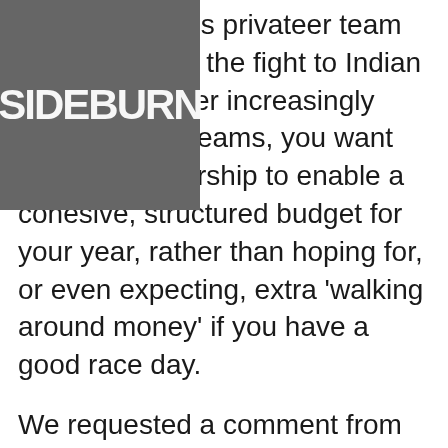[Figure (logo): SIDEBURN logo in white text on dark gray/charcoal background, overlaid on top-left of page]
you're a serious privateer team looking to take the fight to Indian and all the other increasingly well-financed teams, you want proper sponsorship to enable a cohesive, structured budget for your year, rather than hoping for, or even expecting, extra 'walking around money' if you have a good race day.
We requested a comment from team boss Ricky Howerton about the decision to run in red, rather than green of the 2016, but hadn't heard back before we posted this blog. However, from the outside looking in and this is pruely my opinion, not that of the team sponsors or rider, the scarlet bodywork and lack of